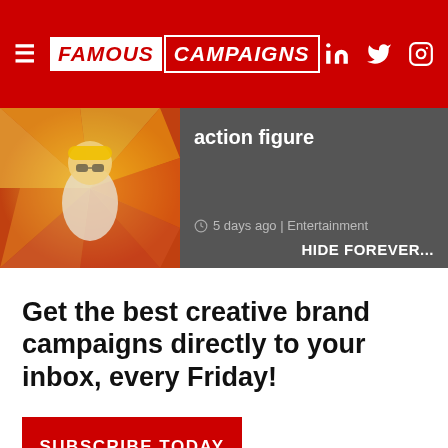FAMOUS CAMPAIGNS
action figure
5 days ago | Entertainment HIDE FOREVER...
Get the best creative brand campaigns directly to your inbox, every Friday!
SUBSCRIBE TODAY
[Figure (illustration): Decorative squiggly lines on a light teal background]
[Figure (infographic): Social share icon bar with Twitter, LinkedIn, Email, Facebook, and More buttons]